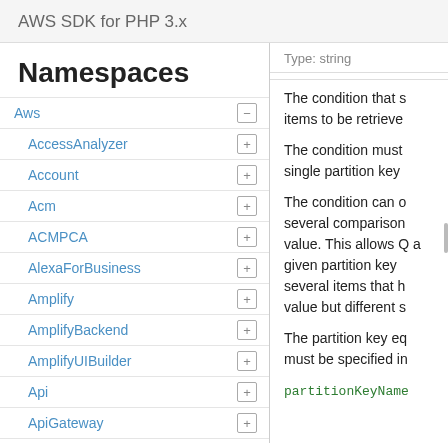AWS SDK for PHP 3.x
Namespaces
Aws
AccessAnalyzer
Account
Acm
ACMPCA
AlexaForBusiness
Amplify
AmplifyBackend
AmplifyUIBuilder
Api
ApiGateway
ApiGatewayManagementApi
Type: string
The condition that s items to be retrieve
The condition must single partition key
The condition can o several comparison value. This allows Q a given partition key several items that h value but different s
The partition key eq must be specified in
partitionKeyName